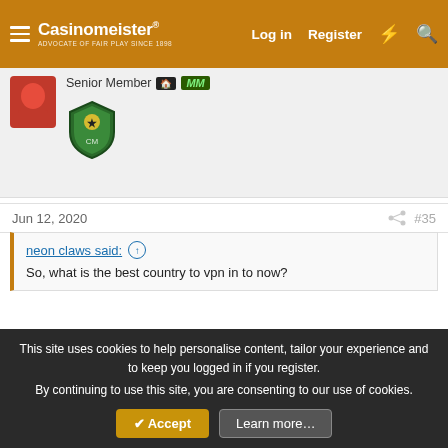Casinomeister® | Log in | Register
Senior Member MM
Jun 12, 2020  #35
neon claws said: ↑
So, what is the best country to vpn in to now?
Probably North Korea.
To get an in depth guide on it, just read the North Korea thread from start to finish.
Good luck!
⚠ You do not have permission to view link Log in or register now.
This site uses cookies to help personalise content, tailor your experience and to keep you logged in if you register.
By continuing to use this site, you are consenting to our use of cookies.
✔ Accept   Learn more…